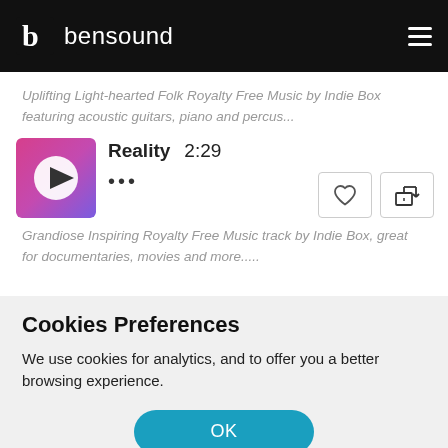bensound
Uplifting Light-hearted Folk Royalty Free Music by Indie Box featuring acoustic guitars, piano and percus...
Reality  2:29  •••
[Figure (illustration): Album art thumbnail with pink/purple gradient and a white play button circle in the center]
Grandiose Inspiring Royalty Free Music track by Indie Box, great for documentaries, movies and more.....
Cookies Preferences
We use cookies for analytics, and to offer you a better browsing experience.